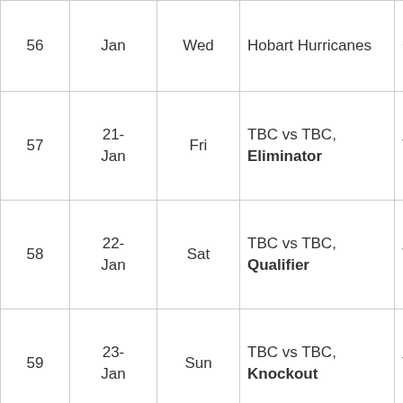| # | Date | Day | Match | Venue |
| --- | --- | --- | --- | --- |
| 56 | Jan | Wed | Hobart Hurricanes | Ground, Melbourne |
| 57 | 21-
Jan | Fri | TBC vs TBC, Eliminator | TBC, TBC |
| 58 | 22-
Jan | Sat | TBC vs TBC, Qualifier | TBC, TBC |
| 59 | 23-
Jan | Sun | TBC vs TBC, Knockout | TBC, TBC |
|  | 26- |  | TBC vs |  |